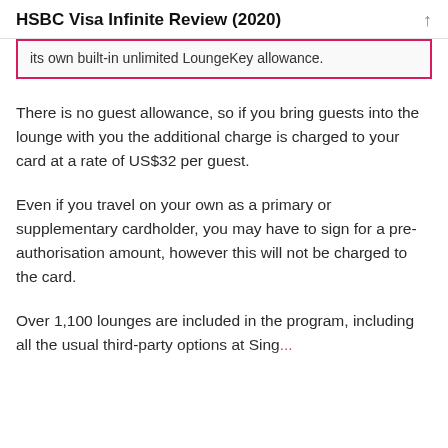HSBC Visa Infinite Review (2020)
its own built-in unlimited LoungeKey allowance.
There is no guest allowance, so if you bring guests into the lounge with you the additional charge is charged to your card at a rate of US$32 per guest.
Even if you travel on your own as a primary or supplementary cardholder, you may have to sign for a pre-authorisation amount, however this will not be charged to the card.
Over 1,100 lounges are included in the program, including all the usual third-party options at Singapore, Changi Airport, and more...